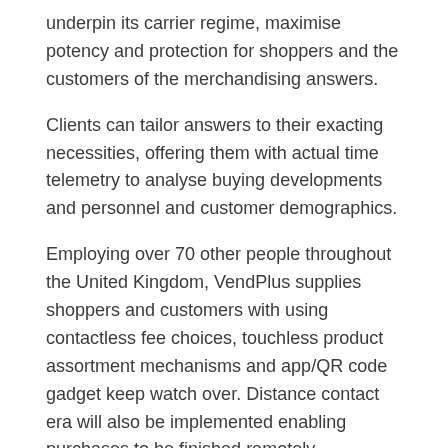underpin its carrier regime, maximise potency and protection for shoppers and the customers of the merchandising answers.
Clients can tailor answers to their exacting necessities, offering them with actual time telemetry to analyse buying developments and personnel and customer demographics.
Employing over 70 other people throughout the United Kingdom, VendPlus supplies shoppers and customers with using contactless fee choices, touchless product assortment mechanisms and app/QR code gadget keep watch over. Distance contact era will also be implemented enabling purchases to be finished remotely.
The whole merchandising be offering will also be